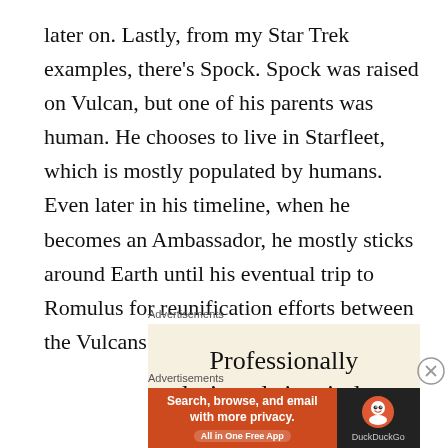later on.  Lastly, from my Star Trek examples, there’s Spock.  Spock was raised on Vulcan, but one of his parents was human.  He chooses to live in Starfleet, which is mostly populated by humans.  Even later in his timeline, when he becomes an Ambassador, he mostly sticks around Earth until his eventual trip to Romulus for reunification efforts between the Vulcans and Romulans.
Advertisements
[Figure (other): Advertisement banner with cream background showing text 'Professionally designed sites in less']
Advertisements
[Figure (other): DuckDuckGo advertisement banner: orange section with text 'Search, browse, and email with more privacy. All in One Free App' and dark section with DuckDuckGo logo and name.]